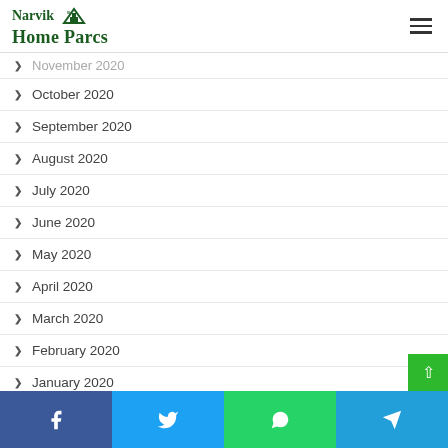Narvik Home Parcs
November 2020
October 2020
September 2020
August 2020
July 2020
June 2020
May 2020
April 2020
March 2020
February 2020
January 2020
December 2019